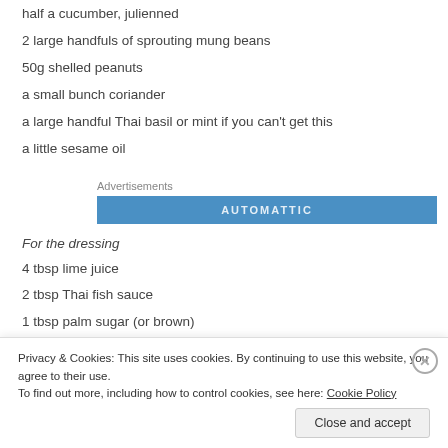half a cucumber, julienned
2 large handfuls of sprouting mung beans
50g shelled peanuts
a small bunch coriander
a large handful Thai basil or mint if you can't get this
a little sesame oil
[Figure (other): Advertisement banner with blue background and text 'AUTOMATTIC']
For the dressing
4 tbsp lime juice
2 tbsp Thai fish sauce
1 tbsp palm sugar (or brown)
Privacy & Cookies: This site uses cookies. By continuing to use this website, you agree to their use. To find out more, including how to control cookies, see here: Cookie Policy